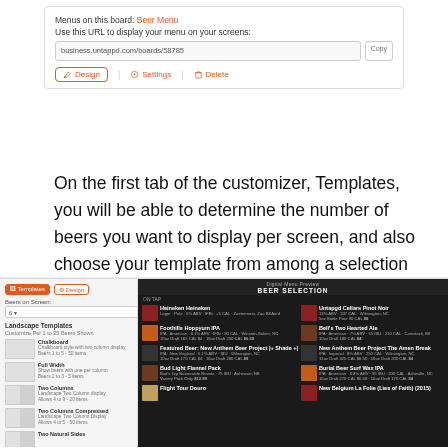[Figure (screenshot): Screenshot of a web UI showing a board with 'Beer Menu' link, a URL field with 'business.untappd.com/boards/58785' and Copy button, and three action links: Design (highlighted with orange border), Settings, Delete]
On the first tab of the customizer, Templates, you will be able to determine the number of beers you want to display per screen, and also choose your template from among a selection of landscape and portrait oriented designs for your board:
[Figure (screenshot): Screenshot of the Templates tab in the customizer showing landscape template options on the left panel and a dark-themed digital menu preview on the right displaying 'BEER SELECTION' with multiple beers listed in a two-column grid]